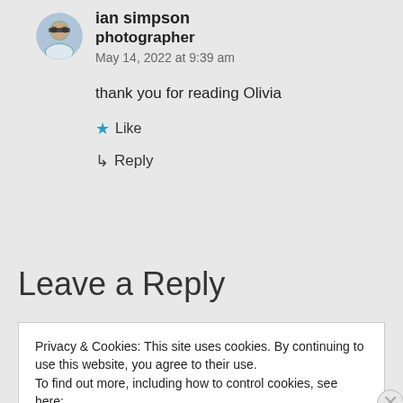[Figure (photo): Circular avatar photo of a man wearing sunglasses outdoors]
ian simpson
photographer
May 14, 2022 at 9:39 am
thank you for reading Olivia
★ Like
↳ Reply
Leave a Reply
Privacy & Cookies: This site uses cookies. By continuing to use this website, you agree to their use.
To find out more, including how to control cookies, see here:
Cookie Policy
Close and accept